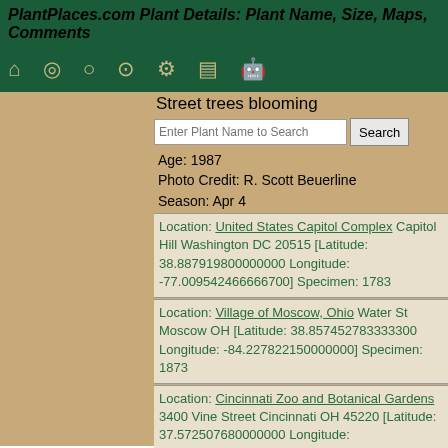PlantPlaces.com Plant Details: Plant Name, Size, Maps, Comments
Street trees blooming
Age: 1987
Photo Credit: R. Scott Beuerline
Season: Apr 4
Location: United States Capitol Complex Capitol Hill Washington DC 20515 [Latitude: 38.887919800000000 Longitude: -77.009542466666700] Specimen: 1783
Location: Village of Moscow, Ohio Water St Moscow OH [Latitude: 38.857452783333300 Longitude: -84.227822150000000] Specimen: 1873
Location: Cincinnati Zoo and Botanical Gardens 3400 Vine Street Cincinnati OH 45220 [Latitude: 37.572507680000000 Longitude: -84.287485500000000] Specimen: